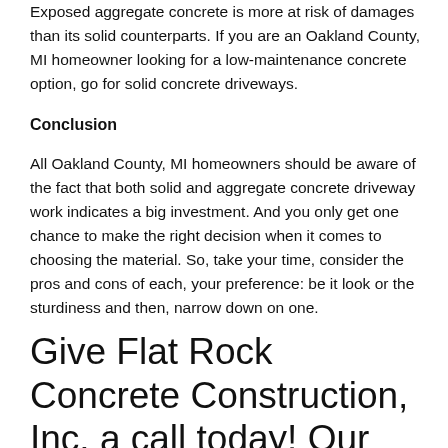Exposed aggregate concrete is more at risk of damages than its solid counterparts. If you are an Oakland County, MI homeowner looking for a low-maintenance concrete option, go for solid concrete driveways.
Conclusion
All Oakland County, MI homeowners should be aware of the fact that both solid and aggregate concrete driveway work indicates a big investment. And you only get one chance to make the right decision when it comes to choosing the material. So, take your time, consider the pros and cons of each, your preference: be it look or the sturdiness and then, narrow down on one.
Give Flat Rock Concrete Construction, Inc. a call today!  Our office numbers are (248) 379-0250 or (586) 786-6001!